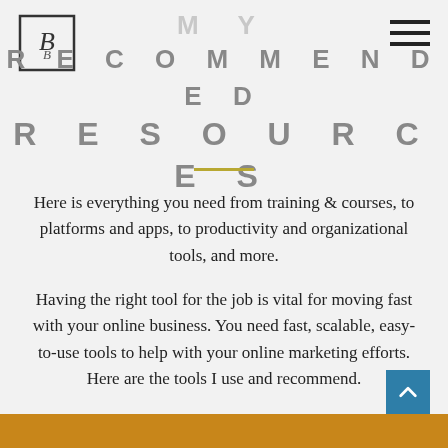[Figure (logo): Square logo with stylized lettering, black border]
[Figure (other): Hamburger menu icon, three horizontal lines, top right]
MY RECOMMENDED RESOURCES
Here is everything you need from training & courses, to platforms and apps, to productivity and organizational tools, and more.
Having the right tool for the job is vital for moving fast with your online business. You need fast, scalable, easy-to-use tools to help with your online marketing efforts. Here are the tools I use and recommend.